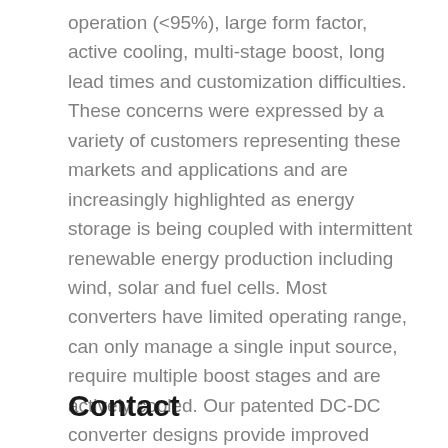operation (<95%), large form factor, active cooling, multi-stage boost, long lead times and customization difficulties. These concerns were expressed by a variety of customers representing these markets and applications and are increasingly highlighted as energy storage is being coupled with intermittent renewable energy production including wind, solar and fuel cells. Most converters have limited operating range, can only manage a single input source, require multiple boost stages and are actively cooled. Our patented DC-DC converter designs provide improved functionality, higher efficiency, smaller footprint and lower cost than available alternatives.
Contact